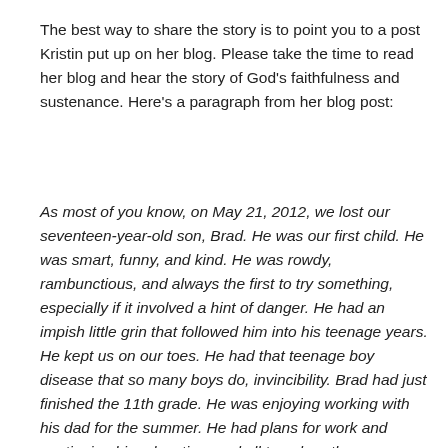The best way to share the story is to point you to a post Kristin put up on her blog. Please take the time to read her blog and hear the story of God's faithfulness and sustenance. Here's a paragraph from her blog post:
As most of you know, on May 21, 2012, we lost our seventeen-year-old son, Brad. He was our first child. He was smart, funny, and kind. He was rowdy, rambunctious, and always the first to try something, especially if it involved a hint of danger. He had an impish little grin that followed him into his teenage years. He kept us on our toes. He had that teenage boy disease that so many boys do, invincibility. Brad had just finished the 11th grade. He was enjoying working with his dad for the summer. He had plans for work and continuing his education, and all too abruptly